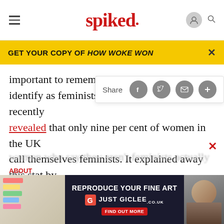spiked
GET YOUR COPY OF HOW WOKE WON
important to remember that most women don't identify as feminists. The Fawcett Society recently revealed that only nine per cent of women in the UK call themselves feminists. It explained away this stat by claiming that 'we are a nation of hidden feminists'. 'The simple truth is if you want a more equal society for women and men, then you are in fact a feminist', the Fawcett Society concluded. Translation: even women who say they aren't feminists actually are —
[Figure (screenshot): Ad banner for Just Giclee fine art reproduction service with colorful sticky notes and a portrait photo]